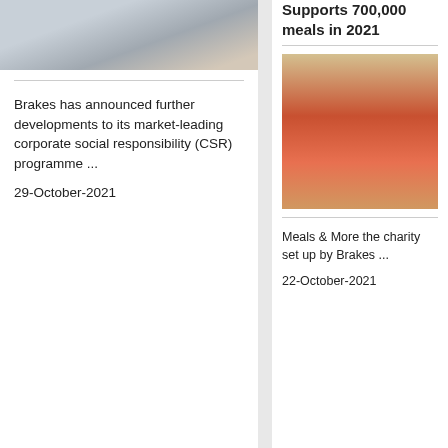[Figure (photo): Photo of person at a meeting table with glasses of water]
Brakes has announced further developments to its market-leading corporate social responsibility (CSR) programme ...
29-October-2021
Supports 700,000 meals in 2021
[Figure (photo): Group of children and adults wearing chef hats standing behind a table with bowls of vegetables and tomatoes]
Meals & More the charity set up by Brakes ...
22-October-2021